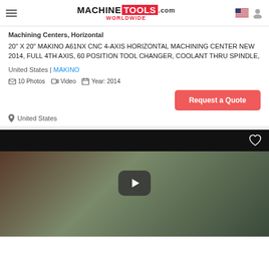MACHINE TOOLS .com WORLDWIDE
Machining Centers, Horizontal
20" X 20" MAKINO A61NX CNC 4-AXIS HORIZONTAL MACHINING CENTER NEW 2014, FULL 4TH AXIS, 60 POSITION TOOL CHANGER, COOLANT THRU SPINDLE,
United States | MAKINO
10 Photos  Video  Year: 2014
Request a Quote
United States
[Figure (photo): Video thumbnail of a horizontal machining center (Makino A61NX) with a play button overlay on a dark background]